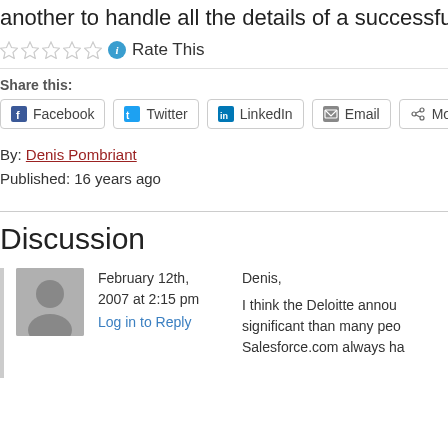another to handle all the details of a successful partner community w
Rate This
Share this:
Facebook  Twitter  LinkedIn  Email  More
By: Denis Pombriant
Published: 16 years ago
Discussion
February 12th, 2007 at 2:15 pm
Log in to Reply
Denis,

I think the Deloitte annou significant than many peo Salesforce.com always ha